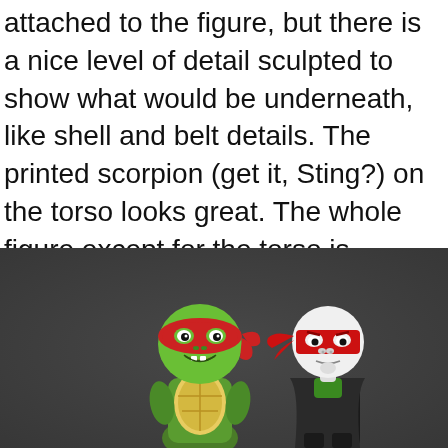attached to the figure, but there is a nice level of detail sculpted to show what would be underneath, like shell and belt details. The printed scorpion (get it, Sting?) on the torso looks great. The whole figure except for the torso is molded in gummy, solid PVC, so you could really knock Raph around without risking any damage.
[Figure (photo): Two Teenage Mutant Ninja Turtles action figures side by side against a dark grey background. The left figure is a standard green Raphael with red bandana. The right figure appears to be a variant Raph with a white face, red mask, and dark clothing.]